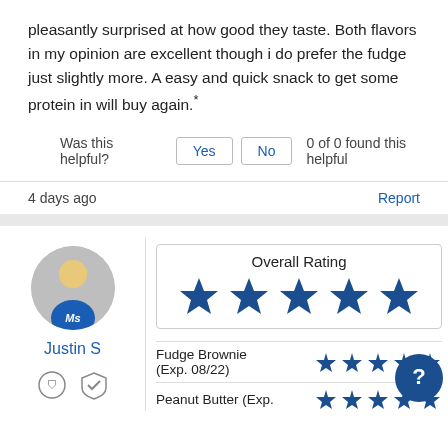pleasantly surprised at how good they taste. Both flavors in my opinion are excellent though i do prefer the fudge just slightly more. A easy and quick snack to get some protein in will buy again.*
Was this helpful? Yes No 0 of 0 found this helpful
4 days ago
Report
Justin S
[Figure (infographic): Overall Rating box showing 4 dark blue stars out of 5]
Fudge Brownie (Exp. 08/22)
Peanut Butter (Exp.